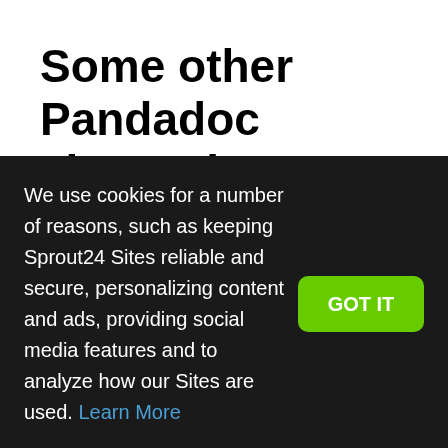Some other Pandadoc alternatives are:
HelloSign
HelloSign is a cloud-based...
We use cookies for a number of reasons, such as keeping Sprout24 Sites reliable and secure, personalizing content and ads, providing social media features and to analyze how our Sites are used. Learn More